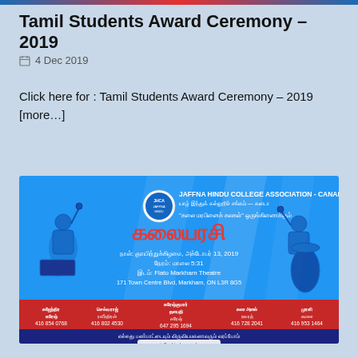Tamil Students Award Ceremony – 2019
4 Dec 2019
Click here for : Tamil Students Award Ceremony – 2019
[more…]
[Figure (illustration): Jaffna Hindu College Association Canada event flyer for Kalaiyarasi cultural event on October 13, 2019 at Flato Markham Theatre, 171 Town Centre Blvd, Markham, ON L3R 8G5. Features two illustrated musicians with drums, red and blue design, Tamil text, and contact phone numbers at bottom.]